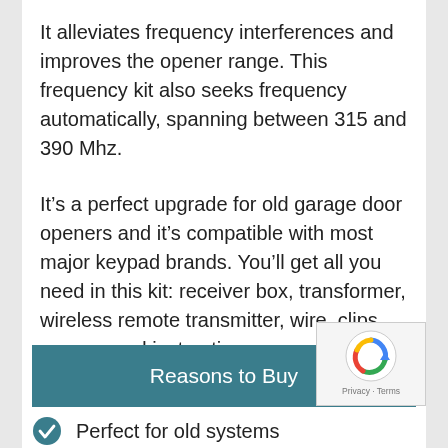It alleviates frequency interferences and improves the opener range. This frequency kit also seeks frequency automatically, spanning between 315 and 390 Mhz.
It’s a perfect upgrade for old garage door openers and it’s compatible with most major keypad brands. You’ll get all you need in this kit: receiver box, transformer, wireless remote transmitter, wire, clips, screws, and instructions.
Reasons to Buy
Perfect for old systems